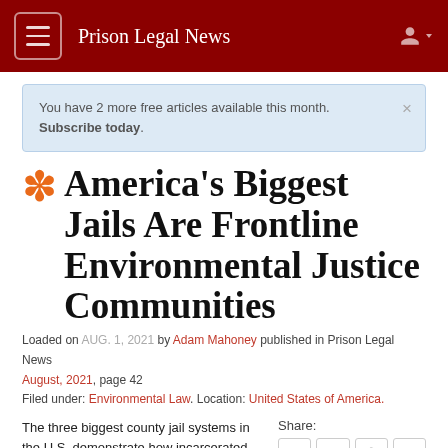Prison Legal News
You have 2 more free articles available this month. Subscribe today.
America's Biggest Jails Are Frontline Environmental Justice Communities
Loaded on AUG. 1, 2021 by Adam Mahoney published in Prison Legal News August, 2021, page 42
Filed under: Environmental Law. Location: United States of America.
The three biggest county jail systems in the U.S. demonstrate how incarcerated people are uniquely exposed to environmental hazards.
by Adam Mahoney, Environmental Justice Fellow with Grist.org